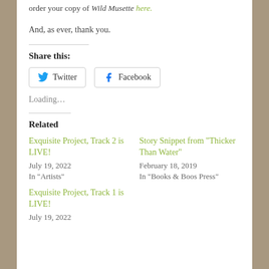order your copy of Wild Musette here.
And, as ever, thank you.
Share this:
[Figure (other): Twitter and Facebook share buttons]
Loading…
Related
Exquisite Project, Track 2 is LIVE!
July 19, 2022
In "Artists"
Story Snippet from "Thicker Than Water"
February 18, 2019
In "Books & Boos Press"
Exquisite Project, Track 1 is LIVE!
July 19, 2022